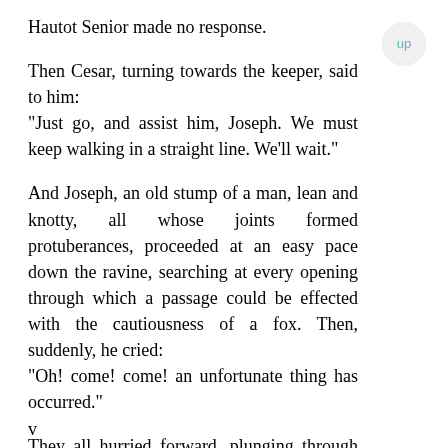Hautot Senior made no response.
Then Cesar, turning towards the keeper, said to him:
"Just go, and assist him, Joseph. We must keep walking in a straight line. We'll wait."
And Joseph, an old stump of a man, lean and knotty, all whose joints formed protuberances, proceeded at an easy pace down the ravine, searching at every opening through which a passage could be effected with the cautiousness of a fox. Then, suddenly, he cried:
"Oh! come! come! an unfortunate thing has occurred."
They all hurried forward, plunging through the briers
v